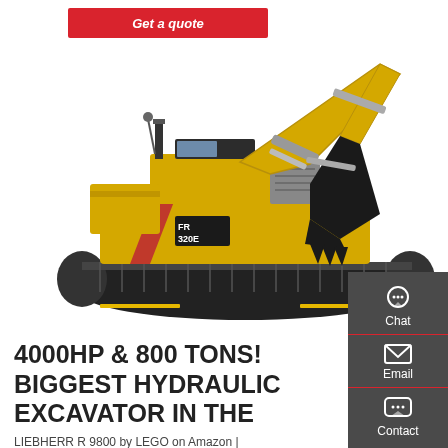Get a quote
[Figure (photo): A yellow Lovol FR320E hydraulic excavator with tracked undercarriage and extended boom/arm with bucket, shown on a white background. The excavator faces left with its boom extended upward to the right.]
[Figure (infographic): Right-side contact sidebar panel with dark grey background showing three contact options: Chat (headset icon), Email (envelope icon), and Contact (speech bubble icon), each separated by a red underline.]
4000HP & 800 TONS! BIGGEST HYDRAULIC EXCAVATOR IN THE
LIEBHERR R 9800 by LEGO on Amazon |